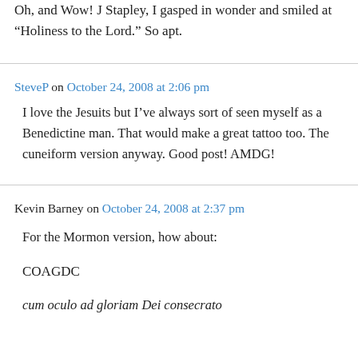Oh, and Wow! J Stapley, I gasped in wonder and smiled at “Holiness to the Lord.” So apt.
SteveP on October 24, 2008 at 2:06 pm
I love the Jesuits but I’ve always sort of seen myself as a Benedictine man. That would make a great tattoo too. The cuneiform version anyway. Good post! AMDG!
Kevin Barney on October 24, 2008 at 2:37 pm
For the Mormon version, how about:
COAGDC
cum oculo ad gloriam Dei consecrato